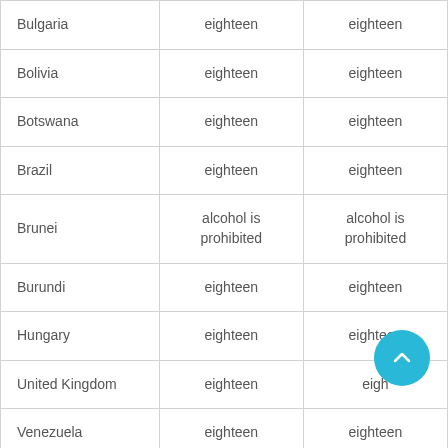| Bulgaria | eighteen | eighteen |
| Bolivia | eighteen | eighteen |
| Botswana | eighteen | eighteen |
| Brazil | eighteen | eighteen |
| Brunei | alcohol is prohibited | alcohol is prohibited |
| Burundi | eighteen | eighteen |
| Hungary | eighteen | eighteen |
| United Kingdom | eighteen | eighteen |
| Venezuela | eighteen | eighteen |